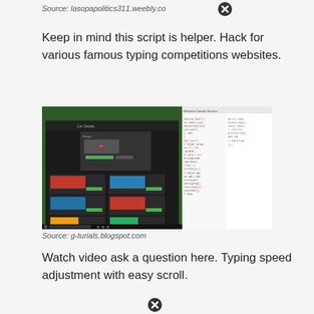Source: lasopapolitics311.weebly.com
Keep in mind this script is helper. Hack for various famous typing competitions websites.
[Figure (screenshot): Screenshot showing a car racing game with multiple cars on a dark interface on the left, and a code editor or web inspector panel on the right.]
Source: g-turials.blogspot.com
Watch video ask a question here. Typing speed adjustment with easy scroll.